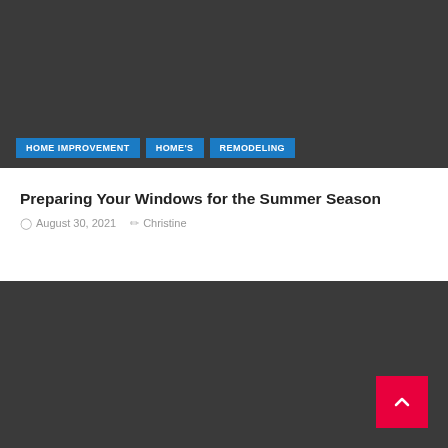[Figure (photo): Dark gray placeholder image block at top of page]
HOME IMPROVEMENT   HOME'S   REMODELING
Preparing Your Windows for the Summer Season
August 30, 2021   Christine
[Figure (photo): Dark gray placeholder image block at bottom of page]